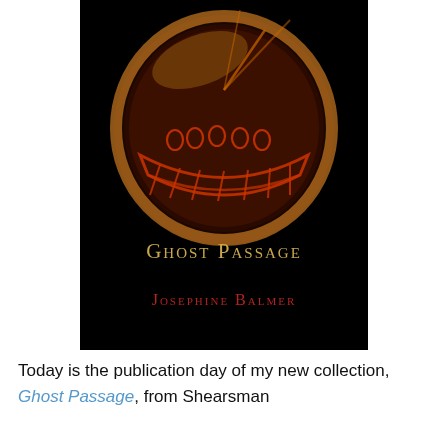[Figure (illustration): Book cover for 'Ghost Passage' by Josephine Balmer. Black background with an oval amber/glass gem showing an engraved ancient boat with rowers. Title 'Ghost Passage' in gold small-caps, author name 'Josephine Balmer' in red small-caps.]
Today is the publication day of my new collection, Ghost Passage, from Shearsman